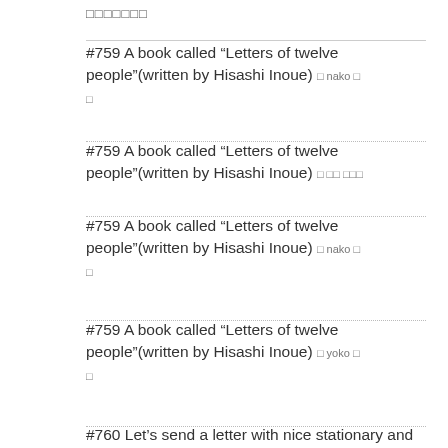□□□□□□□
#759 A book called “Letters of twelve people”(written by Hisashi Inoue) □ nako □ □
#759 A book called “Letters of twelve people”(written by Hisashi Inoue) □ □□ □□□
#759 A book called “Letters of twelve people”(written by Hisashi Inoue) □ nako □ □
#759 A book called “Letters of twelve people”(written by Hisashi Inoue) □ yoko □ □
#760 Let’s send a letter with nice stationary and cute stamps. □ nako □□□